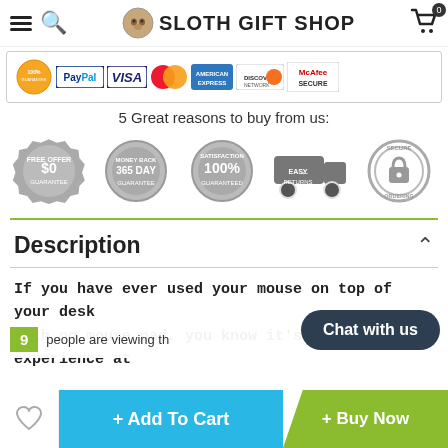SLOTH GIFT SHOP
[Figure (infographic): Payment logos bar: 100% Guarantee, PayPal, VISA, MasterCard, American Express, Discover Network, McAfee SECURE]
5 Great reasons to buy from us:
[Figure (infographic): Five trust badges: Free Offer $0 Guarantee, Money Back 365 Day Guarantee, Satisfaction 100% Guaranteed, Easy Returns truck icon, Secure Ordering padlock]
Description
If you have ever used your mouse on top of your desk with no mouse pad, you know it's a shaky experience at
9 people are viewing this
Chat with us
+ Add To Cart
+ Buy Now